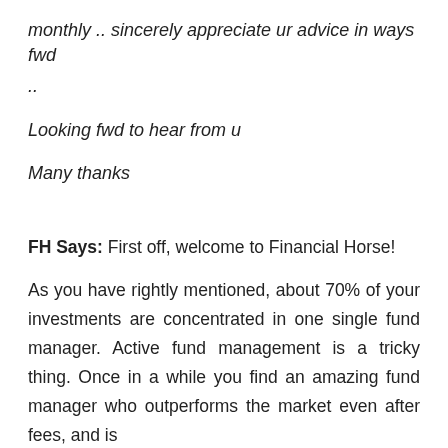monthly .. sincerely appreciate ur advice in ways fwd
..
Looking fwd to hear from u
Many thanks
FH Says: First off, welcome to Financial Horse!
As you have rightly mentioned, about 70% of your investments are concentrated in one single fund manager. Active fund management is a tricky thing. Once in a while you find an amazing fund manager who outperforms the market even after fees, and is